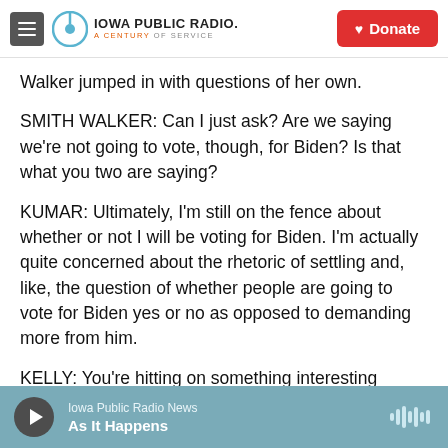Iowa Public Radio - A Century of Service | Donate
Walker jumped in with questions of her own.
SMITH WALKER: Can I just ask? Are we saying we're not going to vote, though, for Biden? Is that what you two are saying?
KUMAR: Ultimately, I'm still on the fence about whether or not I will be voting for Biden. I'm actually quite concerned about the rhetoric of settling and, like, the question of whether people are going to vote for Biden yes or no as opposed to demanding more from him.
KELLY: You're hitting on something interesting
Iowa Public Radio News | As It Happens